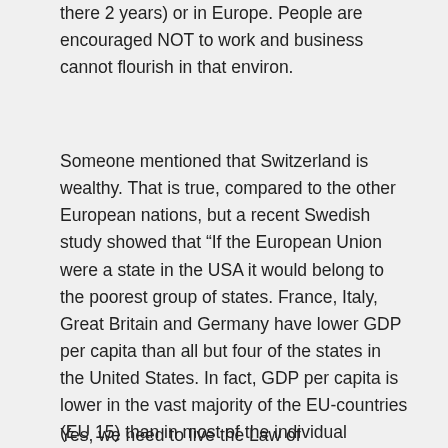there 2 years) or in Europe. People are encouraged NOT to work and business cannot flourish in that environ.
Someone mentioned that Switzerland is wealthy. That is true, compared to the other European nations, but a recent Swedish study showed that “If the European Union were a state in the USA it would belong to the poorest group of states. France, Italy, Great Britain and Germany have lower GDP per capita than all but four of the states in the United States. In fact, GDP per capita is lower in the vast majority of the EU-countries (EU 15) than in most of the individual American states. This puts Europeans at a level of prosperity on par with states such as Arkansas, Mississippi and West Virginia.”
Yes, we need to live the Law of Consecration